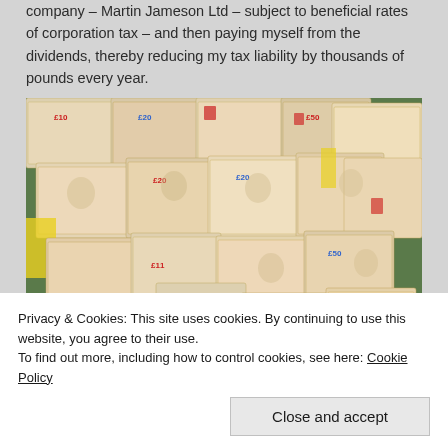company – Martin Jameson Ltd – subject to beneficial rates of corporation tax – and then paying myself from the dividends, thereby reducing my tax liability by thousands of pounds every year.
[Figure (photo): Stacked bundles of British pound banknotes (£10, £20, £50 notes) piled high, photographed against a green background]
Privacy & Cookies: This site uses cookies. By continuing to use this website, you agree to their use.
To find out more, including how to control cookies, see here: Cookie Policy
Close and accept